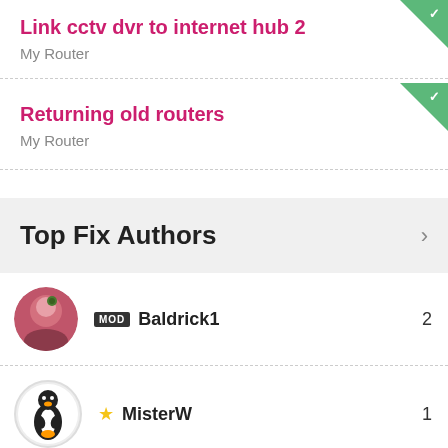Link cctv dvr to internet hub 2
My Router
Returning old routers
My Router
Top Fix Authors
MOD Baldrick1  2
★ MisterW  1